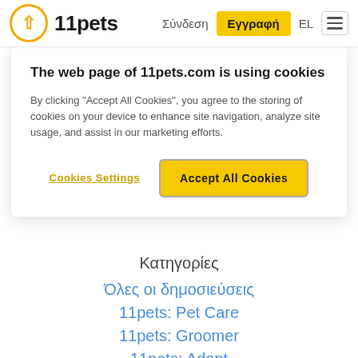11pets | Σύνδεση | Εγγραφή | EL
The web page of 11pets.com is using cookies
By clicking "Accept All Cookies", you agree to the storing of cookies on your device to enhance site navigation, analyze site usage, and assist in our marketing efforts.
Cookies Settings | Accept All Cookies
Κατηγορίες
Όλες οι δημοσιεύσεις
11pets: Pet Care
11pets: Groomer
11pets: Adopt
Φροντίδα υγιεινής
Νέα